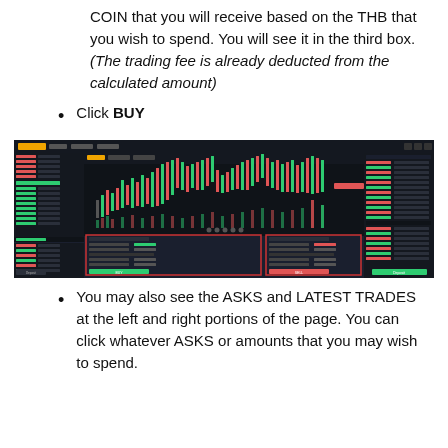COIN that you will receive based on the THB that you wish to spend. You will see it in the third box. (The trading fee is already deducted from the calculated amount)
Click BUY
[Figure (screenshot): Bitkub cryptocurrency trading platform interface showing a dark-themed trading chart with order book on the left, candlestick chart in the center, and trade history on the right. A buy/sell order form is highlighted at the bottom center with red boxes around buy and sell sections, and green BUY and red SELL buttons visible.]
You may also see the ASKS and LATEST TRADES at the left and right portions of the page. You can click whatever ASKS or amounts that you may wish to spend.